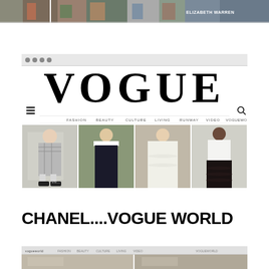[Figure (screenshot): Top strip showing a cropped screenshot with colorful fashion imagery and text 'ELIZABETH WARREN' visible on the right side]
[Figure (screenshot): Screenshot of Vogue.com website showing the large VOGUE logo at top, navigation menu with FASHION, BEAUTY, CULTURE, LIVING, RUNWAY, VIDEO, VOGUEWORLD, and four fashion models below in a grid layout]
CHANEL....VOGUE WORLD
[Figure (screenshot): Partial screenshot of a website showing vogueworld branding in toolbar and partial fashion imagery below]